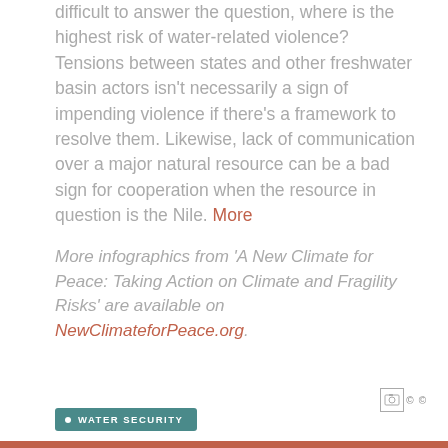difficult to answer the question, where is the highest risk of water-related violence? Tensions between states and other freshwater basin actors isn't necessarily a sign of impending violence if there's a framework to resolve them. Likewise, lack of communication over a major natural resource can be a bad sign for cooperation when the resource in question is the Nile. More
More infographics from 'A New Climate for Peace: Taking Action on Climate and Fragility Risks' are available on NewClimateforPeace.org.
[Figure (other): Photo credit icons with copyright symbol]
• WATER SECURITY